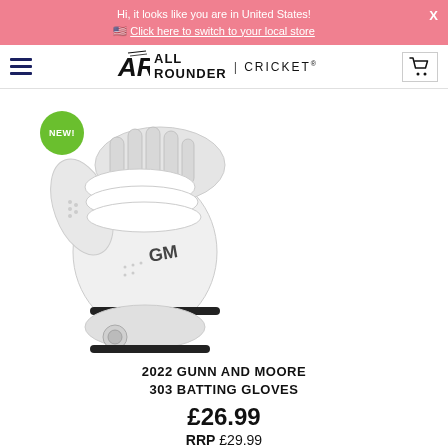Hi, it looks like you are in United States! 🇺🇸 Click here to switch to your local store
[Figure (logo): All Rounder Cricket logo with hamburger menu and cart icon]
[Figure (photo): 2022 Gunn and Moore 303 Batting Gloves — white cricket batting gloves with GM logo, shown in a pair, with a green NEW! badge]
2022 GUNN AND MOORE 303 BATTING GLOVES
£26.99
RRP £29.99